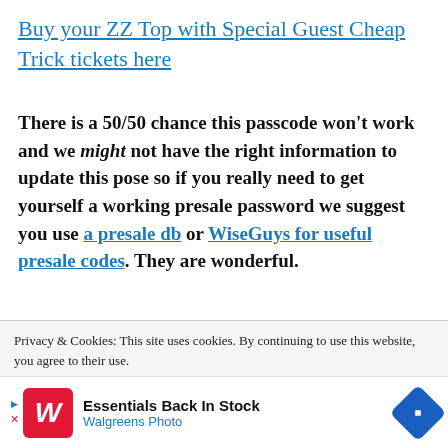Buy your ZZ Top with Special Guest Cheap Trick tickets here
There is a 50/50 chance this passcode won't work and we might not have the right information to update this pose so if you really need to get yourself a working presale password we suggest you use a presale db or WiseGuys for useful presale codes. They are wonderful.
Privacy & Cookies: This site uses cookies. By continuing to use this website, you agree to their use.
To find out more, including how to control cookies, see here:
Cookie Policy
[Figure (screenshot): Walgreens Photo advertisement banner: 'Essentials Back In Stock' with Walgreens W logo in red and a blue diamond arrow icon]